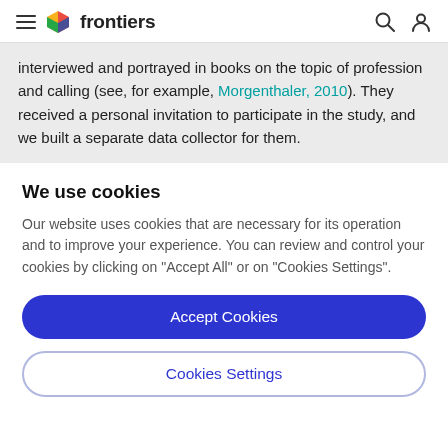frontiers
interviewed and portrayed in books on the topic of profession and calling (see, for example, Morgenthaler, 2010). They received a personal invitation to participate in the study, and we built a separate data collector for them.
We use cookies
Our website uses cookies that are necessary for its operation and to improve your experience. You can review and control your cookies by clicking on "Accept All" or on "Cookies Settings".
Accept Cookies
Cookies Settings